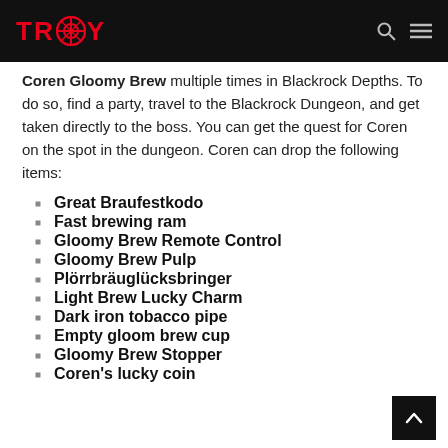TRISTOY
Coren Gloomy Brew multiple times in Blackrock Depths. To do so, find a party, travel to the Blackrock Dungeon, and get taken directly to the boss. You can get the quest for Coren on the spot in the dungeon. Coren can drop the following items:
Great Braufestkodo
Fast brewing ram
Gloomy Brew Remote Control
Gloomy Brew Pulp
Plörrbräuglücksbringer
Light Brew Lucky Charm
Dark iron tobacco pipe
Empty gloom brew cup
Gloomy Brew Stopper
Coren's lucky coin